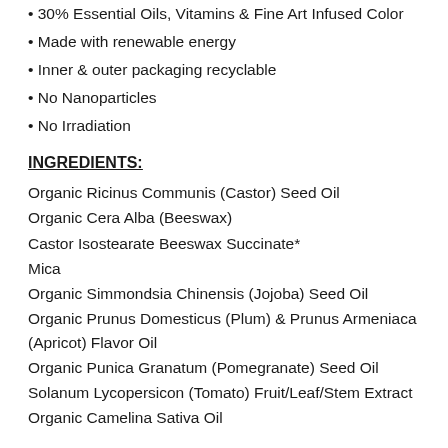30% Essential Oils, Vitamins & Fine Art Infused Color
Made with renewable energy
Inner & outer packaging recyclable
No Nanoparticles
No Irradiation
INGREDIENTS:
Organic Ricinus Communis (Castor) Seed Oil
Organic Cera Alba (Beeswax)
Castor Isostearate Beeswax Succinate*
Mica
Organic Simmondsia Chinensis (Jojoba) Seed Oil
Organic Prunus Domesticus (Plum) & Prunus Armeniaca (Apricot) Flavor Oil
Organic Punica Granatum (Pomegranate) Seed Oil
Solanum Lycopersicon (Tomato) Fruit/Leaf/Stem Extract
Organic Camelina Sativa Oil